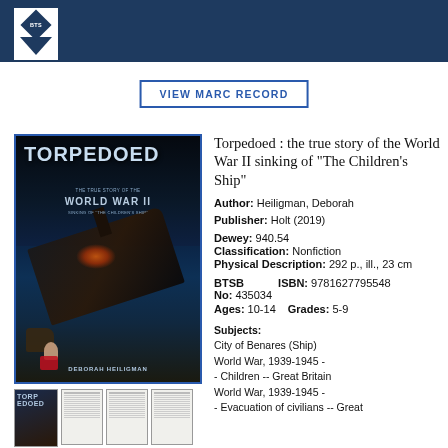[Figure (logo): BTSB logo in white on dark navy header bar]
VIEW MARC RECORD
[Figure (photo): Book cover of Torpedoed by Deborah Heiligman showing a sinking ship in stormy seas]
Torpedoed : the true story of the World War II sinking of "The Children's Ship"
Author: Heiligman, Deborah
Publisher: Holt (2019)
Dewey: 940.54
Classification: Nonfiction
Physical Description: 292 p., ill., 23 cm
BTSB No: 435034  ISBN: 9781627795548
Ages: 10-14  Grades: 5-9
Subjects: City of Benares (Ship) World War, 1939-1945 - - Children -- Great Britain World War, 1939-1945 - - Evacuation of civilians -- Great